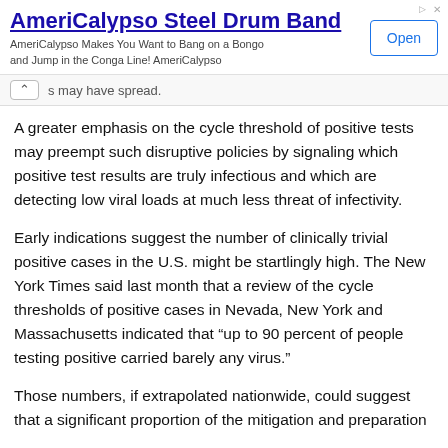[Figure (screenshot): Advertisement banner for AmeriCalypso Steel Drum Band with title link, description text, and Open button]
s may have spread.
A greater emphasis on the cycle threshold of positive tests may preempt such disruptive policies by signaling which positive test results are truly infectious and which are detecting low viral loads at much less threat of infectivity.
Early indications suggest the number of clinically trivial positive cases in the U.S. might be startlingly high. The New York Times said last month that a review of the cycle thresholds of positive cases in Nevada, New York and Massachusetts indicated that “up to 90 percent of people testing positive carried barely any virus.”
Those numbers, if extrapolated nationwide, could suggest that a significant proportion of the mitigation and preparation